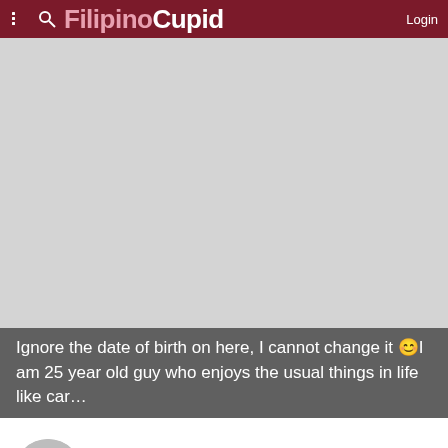FilipinoCupid Login
[Figure (photo): Large grey placeholder profile photo area]
Ignore the date of birth on here, I cannot change it 😊I am 25 year old guy who enjoys the usual things in life like car…
Nigel
59 • Norwich, Norfolk, United Kingdom